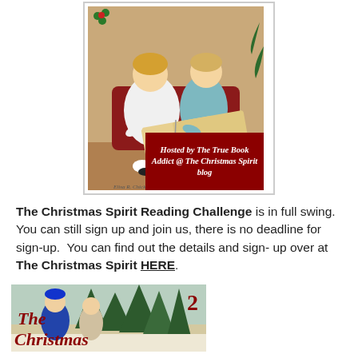[Figure (illustration): Vintage illustration of two young children sitting together reading a book, with a red banner overlay reading 'Hosted by The True Book Addict @ The Christmas Spirit blog' in old-style white font. Image is framed with a thin border.]
The Christmas Spirit Reading Challenge is in full swing. You can still sign up and join us, there is no deadline for sign-up. You can find out the details and sign- up over at The Christmas Spirit HERE.
[Figure (illustration): Bottom portion of a vintage Christmas-themed image showing children with Christmas trees in a wintry scene. Red italic text reads 'The Christmas' on the left, and a red number '2' appears on the right.]